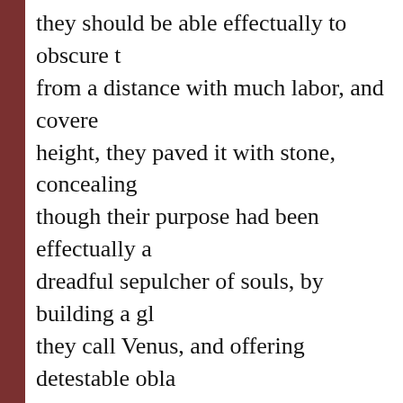they should be able effectually to obscure the truth from a distance with much labor, and covered height, they paved it with stone, concealing though their purpose had been effectually a dreadful sepulcher of souls, by building a gl they call Venus, and offering detestable obla supposed that their object could not otherw cave beneath these foul pollutions” ( Life of C
Under Constantine, Christianity was freed fr Constantine had the temple to Venus destro dedication is celebrated in our liturgy on Se Sepulchre, its authentic name is the Anastas